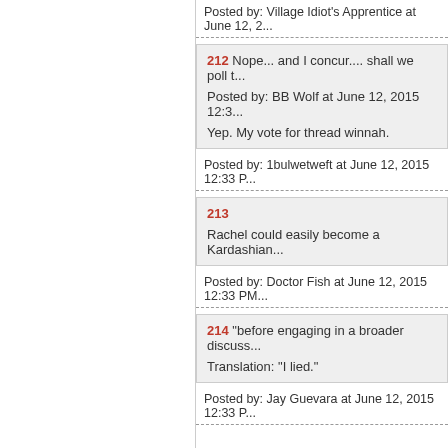Posted by: Village Idiot's Apprentice at June 12, 2...
212 Nope... and I concur.... shall we poll t...
Posted by: BB Wolf at June 12, 2015 12:3...
Yep. My vote for thread winnah.
Posted by: 1bulwetweft at June 12, 2015 12:33 P...
213
Rachel could easily become a Kardashian...
Posted by: Doctor Fish at June 12, 2015 12:33 PM...
214 "before engaging in a broader discuss...
Translation: "I lied."
Posted by: Jay Guevara at June 12, 2015 12:33 P...